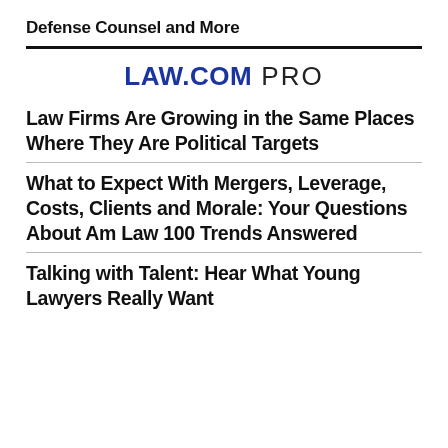Defense Counsel and More
[Figure (logo): LAW.COM PRO logo — LAW.COM in bold blue, PRO in regular gray]
Law Firms Are Growing in the Same Places Where They Are Political Targets
What to Expect With Mergers, Leverage, Costs, Clients and Morale: Your Questions About Am Law 100 Trends Answered
Talking with Talent: Hear What Young Lawyers Really Want